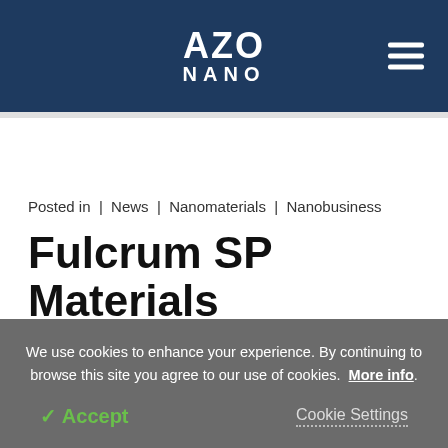AZO NANO
Posted in | News | Nanomaterials | Nanobusiness
Fulcrum SP Materials Announces Pilot
We use cookies to enhance your experience. By continuing to browse this site you agree to our use of cookies. More info.
✓ Accept   Cookie Settings